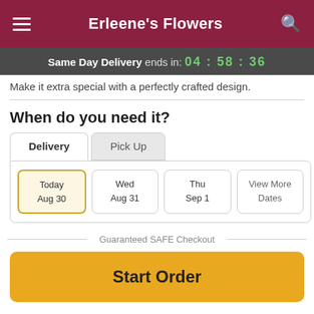Erleene's Flowers
Same Day Delivery ends in: 04 : 58 : 36
Make it extra special with a perfectly crafted design.
When do you need it?
Delivery | Pick Up
Today Aug 30 | Wed Aug 31 | Thu Sep 1 | View More Dates
Guaranteed SAFE Checkout
Start Order